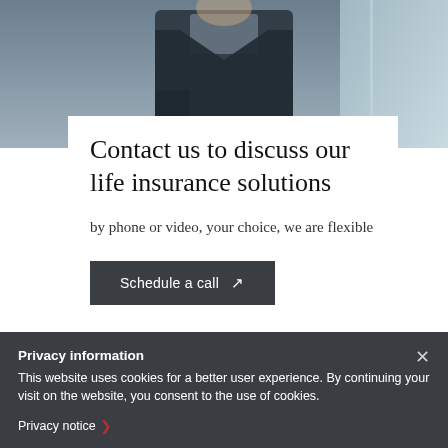[Figure (photo): Partial photo of a person in a dark suit jacket, cropped at chest/shoulder level, in an office/bright window environment]
Contact us to discuss our life insurance solutions
by phone or video, your choice, we are flexible
Schedule a call ↗
Privacy information
This website uses cookies for a better user experience. By continuing your visit on the website, you consent to the use of cookies.
Privacy notice ›